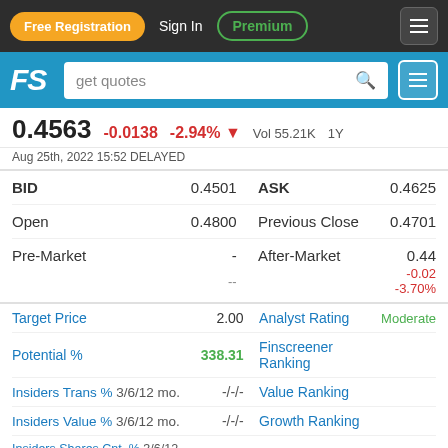Free Registration  Sign In  Premium
FS  get quotes
0.4563  -0.0138  -2.94%  Vol 55.21K
Aug 25th, 2022 15:52 DELAYED
| Field | Value | Field | Value |
| --- | --- | --- | --- |
| BID | 0.4501 | ASK | 0.4625 |
| Open | 0.4800 | Previous Close | 0.4701 |
| Pre-Market | - | After-Market | 0.44 |
|  | -- |  | -0.02 -3.70% |
| Metric | Value | Metric | Value |
| --- | --- | --- | --- |
| Target Price | 2.00 | Analyst Rating | Moderate |
| Potential % | 338.31 | Finscreener Ranking |  |
| Insiders Trans % 3/6/12 mo. | -/-/- | Value Ranking |  |
| Insiders Value % 3/6/12 mo. | -/-/- | Growth Ranking |  |
| Insiders Shares Cnt. % 3/6/12 mo. | -/-/- | Income Ranking |  |
| Price Range Ratio 52W % | 14.66 | Earnings Rating | S |
| Market Cap | 39.54M | Earnings Date | 15th |